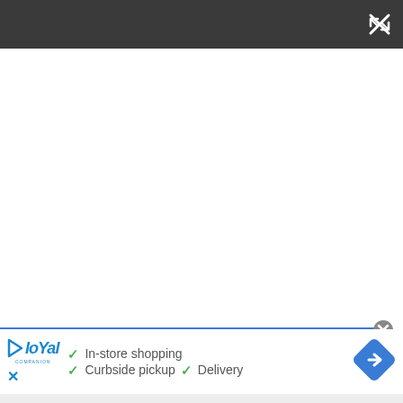[Figure (screenshot): Dark top navigation bar with a white expand/fullscreen icon (X with arrows) in the upper right corner]
[Figure (infographic): Advertisement banner for Loyal Companion store showing logo, checkmark service icons for In-store shopping, Curbside pickup, Delivery, and a blue navigation/directions diamond icon on the right]
[Figure (other): Light gray bottom strip representing the bottom of a webpage]